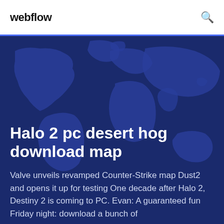webflow
[Figure (map): Dark blue world map silhouette used as hero background]
Halo 2 pc desert hog download map
Valve unveils revamped Counter-Strike map Dust2 and opens it up for testing One decade after Halo 2, Destiny 2 is coming to PC. Evan: A guaranteed fun Friday night: download a bunch of